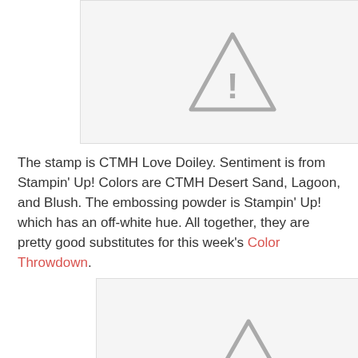[Figure (other): Image placeholder with warning/missing image icon (triangle with exclamation mark), top portion of page]
The stamp is CTMH Love Doiley.  Sentiment is from Stampin' Up!  Colors are CTMH Desert Sand, Lagoon, and Blush.  The embossing powder is Stampin' Up! which has an off-white hue.  All together, they are pretty good substitutes for this week's Color Throwdown.
[Figure (other): Image placeholder with warning/missing image icon (triangle with exclamation mark), bottom portion of page]